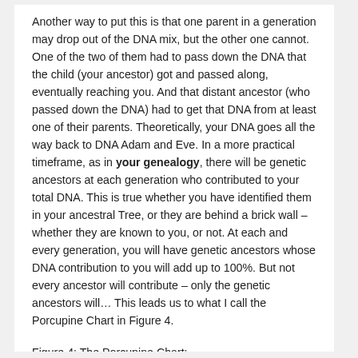Another way to put this is that one parent in a generation may drop out of the DNA mix, but the other one cannot. One of the two of them had to pass down the DNA that the child (your ancestor) got and passed along, eventually reaching you. And that distant ancestor (who passed down the DNA) had to get that DNA from at least one of their parents. Theoretically, your DNA goes all the way back to DNA Adam and Eve. In a more practical timeframe, as in your genealogy, there will be genetic ancestors at each generation who contributed to your total DNA. This is true whether you have identified them in your ancestral Tree, or they are behind a brick wall – whether they are known to you, or not. At each and every generation, you will have genetic ancestors whose DNA contribution to you will add up to 100%. But not every ancestor will contribute – only the genetic ancestors will… This leads us to what I call the Porcupine Chart in Figure 4.
Figure 4: The Porcupine Chart: